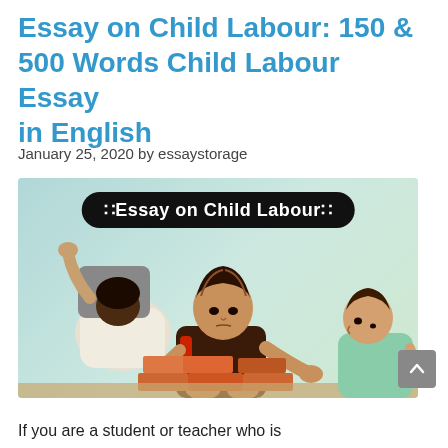Essay on Child Labour: 150 & 500 Words Child Labour Essay in English
January 25, 2020 by essaystorage
[Figure (illustration): Illustrated image showing three children engaged in heavy labour (carrying rocks, handling bricks) with a banner reading ':Essay on Child Labour:' on a teal background.]
If you are a student or teacher who is